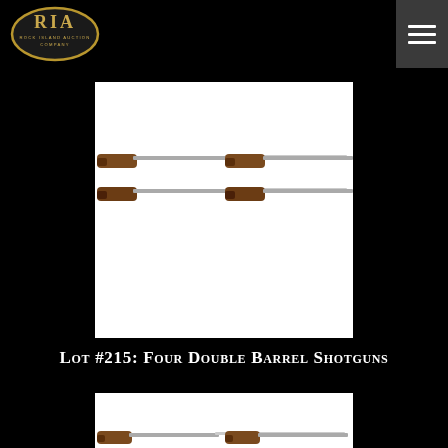[Figure (logo): Rock Island Auction Company oval logo with 'RIA' in gold lettering on black background]
[Figure (photo): Four double barrel shotguns shown in two rows of two, on white background — side profile views showing wooden stocks and long barrels]
Lot #215: Four Double Barrel Shotguns
[Figure (photo): Second photo of double barrel shotguns, partially visible, same presentation as above]